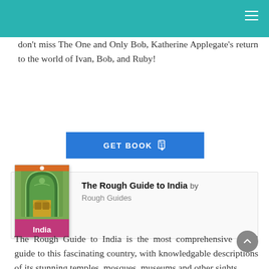don't miss The One and Only Bob, Katherine Applegate's return to the world of Ivan, Bob, and Ruby!
GET BOOK
[Figure (illustration): Book cover of 'The Rough Guide to India' showing an ornate green archway/doorway with decorative details and the title 'India' in white text on a pink/purple band at the bottom, published by Rough Guides.]
The Rough Guide to India by Rough Guides
The Rough Guide to India is the most comprehensive travel guide to this fascinating country, with knowledgable descriptions of its stunning temples, mosques, museums and other sights.